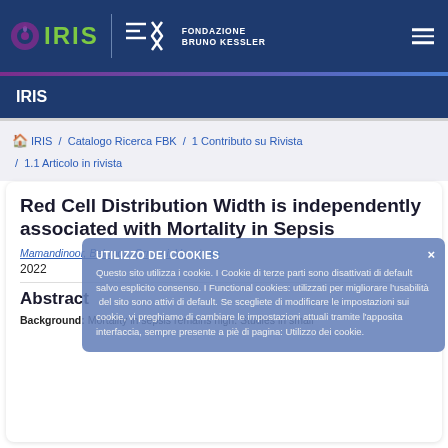[Figure (logo): IRIS logo (eye icon + green text) and Fondazione Bruno Kessler logo on dark blue header bar]
IRIS
IRIS / Catalogo Ricerca FBK / 1 Contributo su Rivista / 1.1 Articolo in rivista
Red Cell Distribution Width is independently associated with Mortality in Sepsis
Mamandinoor, Behrooz; Ormani, Venet; ...
2022
Abstract
Background: Mortality in sepsis remains high. Studies in small
UTILIZZO DEI COOKIES
Questo sito utilizza i cookie. I Cookie di terze parti sono disattivati di default salvo esplicito consenso. I Functional cookies: utilizzati per migliorare l'usabilità del sito sono attivi di default. Se scegliete di modificare le impostazioni sui cookie, vi preghiamo di cambiare le impostazioni attuali tramite l'apposita interfaccia, sempre presente a piè di pagina: Utilizzo dei cookie.